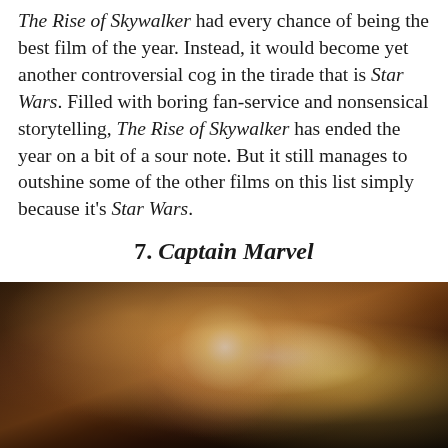The Rise of Skywalker had every chance of being the best film of the year. Instead, it would become yet another controversial cog in the tirade that is Star Wars. Filled with boring fan-service and nonsensical storytelling, The Rise of Skywalker has ended the year on a bit of a sour note. But it still manages to outshine some of the other films on this list simply because it's Star Wars.
7. Captain Marvel
[Figure (photo): A dramatic artistic illustration of Captain Marvel (a woman with glowing eyes and blonde hair) with bright light emanating from her eyes, set against a dark background with golden and warm tones.]